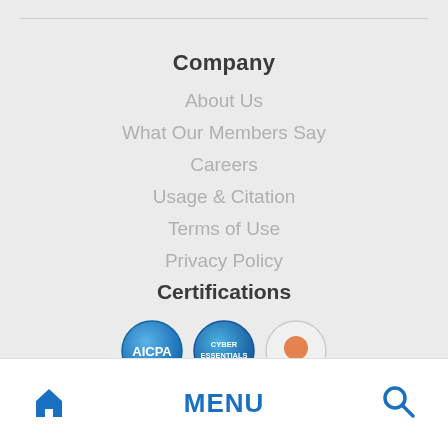Company
About Us
What Our Members Say
Careers
Usage & Citation
Terms of Use
Privacy Policy
Certifications
[Figure (logo): Three certification badge logos: AICPA, Cyber Essentials, and a partially visible third badge]
Home  MENU  Search